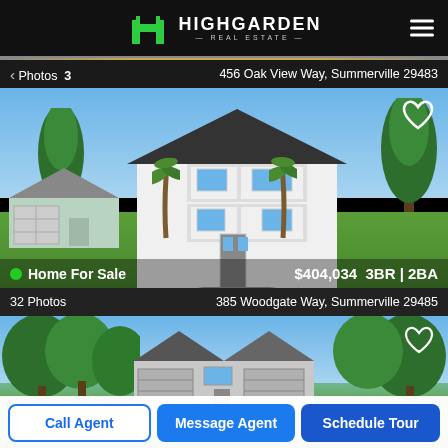[Figure (logo): Highgarden Real Estate logo with green H icon and white text]
3< Photos   456 Oak View Way, Summerville 29483
[Figure (photo): Two-story white colonial home for sale at 456 Oak View Way, Summerville 29483, with palm trees and green lawn]
Home For Sale   $404,034   3BR | 2BA
32 Photos   385 Woodgate Way, Summerville 29485
[Figure (photo): Gray ranch-style home at 385 Woodgate Way, Summerville 29485]
Call Agent
Message Agent
Schedule Tour